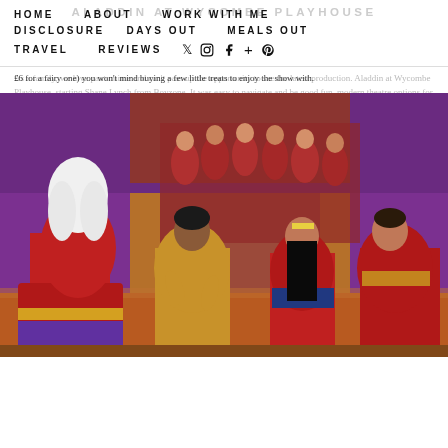HOME | ABOUT | WORK WITH ME | DISCLOSURE | DAYS OUT | MEALS OUT | TRAVEL | REVIEWS | ALADDIN AT WYCOMBE PLAYHOUSE
As a family, we love pantomime and can't pass up the opportunity to see the latest production. Aladdin at Wycombe Playhouse, starring Shane Lynch from Boyzone. It was easy to navigate and be good fun, modern theatre options for a family with children close by. With a well-stocked bar selling a range of drinks and light snacks, selling from £6 for a fairy one) you won't mind buying a few little treats to enjoy the show with.
[Figure (photo): Stage photo of Aladdin pantomime performance at Wycombe Playhouse showing four performers in colourful costumes — a dame in a white wig and red dress, Aladdin in gold Chinese-style robe, a princess in red and blue, and another performer in red and gold. Background shows chorus in red costumes against ornate red and purple set.]